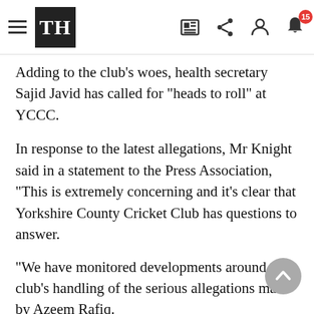TH (The Hindu) - navigation header with hamburger menu, logo, and icons
Adding to the club's woes, health secretary Sajid Javid has called for "heads to roll" at YCCC.
In response to the latest allegations, Mr Knight said in a statement to the Press Association, "This is extremely concerning and it's clear that Yorkshire County Cricket Club has questions to answer.
"We have monitored developments around the club's handling of the serious allegations made by Azeem Rafiq.
"We want to see much greater transparency from YCCC - it is time for them to answer their critics. We intend to call the chair of the club before the DCMS Committee to